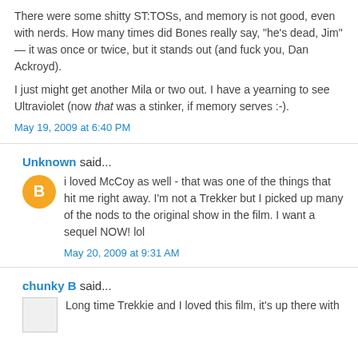There were some shitty ST:TOSs, and memory is not good, even with nerds. How many times did Bones really say, "he's dead, Jim" — it was once or twice, but it stands out (and fuck you, Dan Ackroyd).
I just might get another Mila or two out. I have a yearning to see Ultraviolet (now that was a stinker, if memory serves :-).
May 19, 2009 at 6:40 PM
Unknown said...
i loved McCoy as well - that was one of the things that hit me right away. I'm not a Trekker but I picked up many of the nods to the original show in the film. I want a sequel NOW! lol
May 20, 2009 at 9:31 AM
chunky B said...
Long time Trekkie and I loved this film, it's up there with